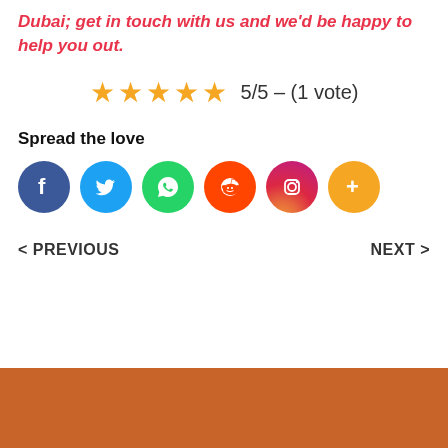Dubai; get in touch with us and we'd be happy to help you out.
[Figure (other): 5-star rating widget showing 5 filled orange stars with text '5/5 – (1 vote)']
Spread the love
[Figure (other): Social media sharing icons: Facebook, Twitter, WhatsApp, Reddit, Instagram, More (+)]
< PREVIOUS
NEXT >
[Figure (other): Orange/brown banner at bottom of page]